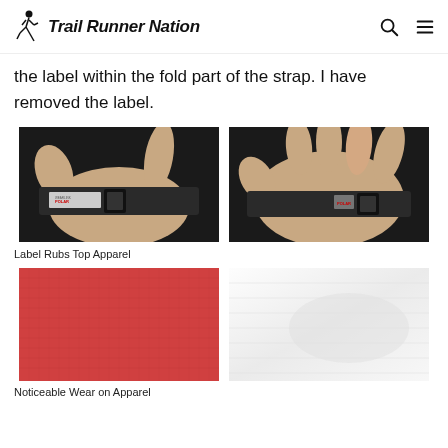Trail Runner Nation
the label within the fold part of the strap. I have removed the label.
[Figure (photo): Two side-by-side photos showing hands wearing a black Polar heart rate monitor wrist strap, showing label placement on the strap]
Label Rubs Top Apparel
[Figure (photo): Two side-by-side photos showing noticeable wear on apparel — left photo shows red fabric texture, right photo shows white fabric texture]
Noticeable Wear on Apparel